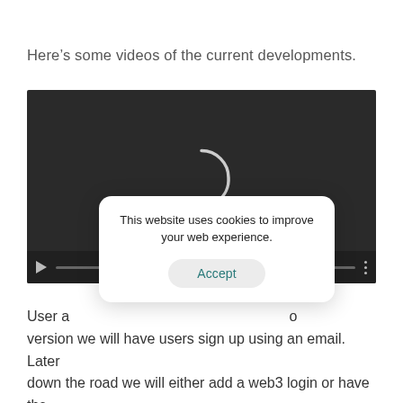Here’s some videos of the current developments.
[Figure (screenshot): A video player with dark background showing a loading spinner (partial circle arc). Player controls visible at bottom including play button, progress bar, and options dots. A cookie consent overlay popup is displayed on top of the video.]
User a…o
version we will have users sign up using an email. Later down the road we will either add a web3 login or have the option for users to connect their wallet on the user…